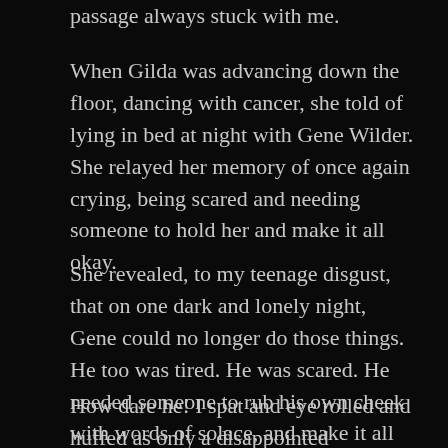passage always stuck with me.
When Gilda was advancing down the floor, dancing with cancer, she told of lying in bed at night with Gene Wilder. She relayed her memory of once again crying, being scared and needing someone to hold her and make it all okay.
She revealed, to my teenage disgust, that on one dark and lonely night, Gene could no longer do those things. He too was tired. He was scared. He needed someone to rub his own cheek with words of solace, and make it all okay.
How dare he! I spat and eye rolled and huffed as only a disappointed privileged teen can. How could he ever consider not being there to the very last curl of his hair,